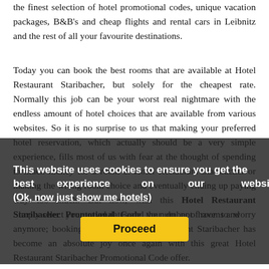the finest selection of hotel promotional codes, unique vacation packages, B&B's and cheap flights and rental cars in Leibnitz and the rest of all your favourite destinations.
Today you can book the best rooms that are available at Hotel Restaurant Staribacher, but solely for the cheapest rate. Normally this job can be your worst real nightmare with the endless amount of hotel choices that are available from various websites. So it is no surprise to us that making your preferred hotel reservation, which actually should be a very simple experience, fills most of us with fear at the thought of spending to much money for a room at Hotel Restaurant Staribacher or making the wrong room choice and eventually ending up paying way too much. But now, with this Hotel Restaurant Staribacher Promotional Code you do not have to worry anymore; booking a room at Hotel Restaurant Staribacher has become an absolute joy once again with this great Hotel Restaurant Staribacher Promotional Code offer.
This website uses cookies to ensure you get the best experience on our website. (Ok, now just show me hotels)
Proceed
Simply select your travel dates and the number of rooms and